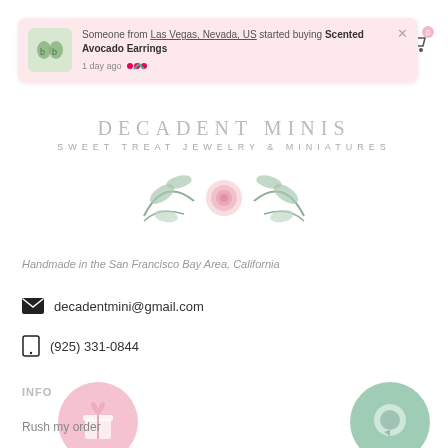Someone from Las Vegas, Nevada, US started buying Scented Avocado Earrings
1 day ago
DECADENT MINIS
SWEET TREAT JEWELRY & MINIATURES
[Figure (illustration): Floral decoration with pink rose and green leaves]
Handmade in the San Francisco Bay Area, California
decadentmini@gmail.com
(925) 331-0844
INFO
Rush my order